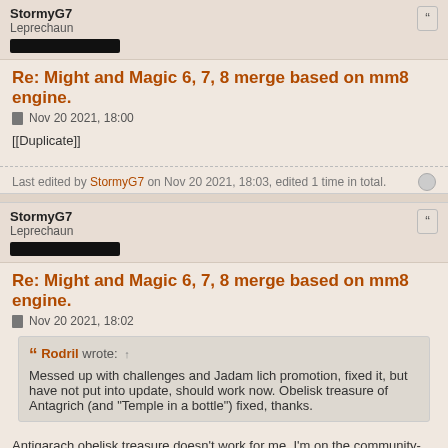StormyG7
Leprechaun
Re: Might and Magic 6, 7, 8 merge based on mm8 engine.
Nov 20 2021, 18:00
[[Duplicate]]
Last edited by StormyG7 on Nov 20 2021, 18:03, edited 1 time in total.
StormyG7
Leprechaun
Re: Might and Magic 6, 7, 8 merge based on mm8 engine.
Nov 20 2021, 18:02
Rodril wrote: ↑
Messed up with challenges and Jadam lich promotion, fixed it, but have not put into update, should work now. Obelisk treasure of Antagrich (and "Temple in a bottle") fixed, thanks.
Antigarach obelisk treasure doesn't work for me. I'm on the community-master branch.